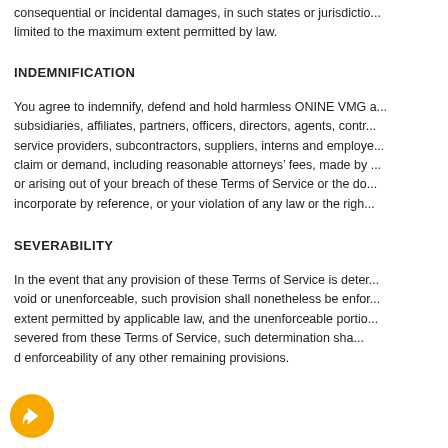consequential or incidental damages, in such states or jurisdictions, liability is limited to the maximum extent permitted by law.
INDEMNIFICATION
You agree to indemnify, defend and hold harmless ONINE VMG and its subsidiaries, affiliates, partners, officers, directors, agents, contractors, service providers, subcontractors, suppliers, interns and employees, from any claim or demand, including reasonable attorneys’ fees, made by any third-party or arising out of your breach of these Terms of Service or the documents they incorporate by reference, or your violation of any law or the rights of a third-party.
SEVERABILITY
In the event that any provision of these Terms of Service is determined to be void or unenforceable, such provision shall nonetheless be enforceable to the fullest extent permitted by applicable law, and the unenforceable portion shall be deemed to be severed from these Terms of Service, such determination shall not affect the validity and enforceability of any other remaining provisions.
[Figure (illustration): Yellow/orange circular icon with a right-pointing arrow/reply symbol inside, positioned at bottom-left corner of page.]